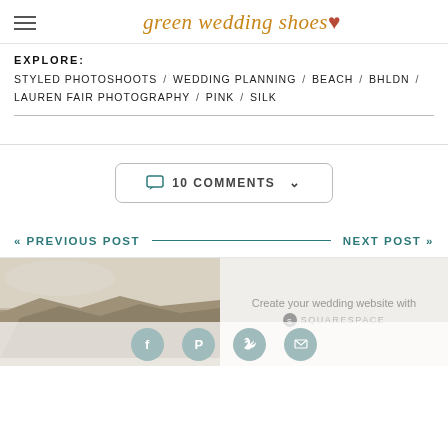green wedding shoes ♥
EXPLORE:
STYLED PHOTOSHOOTS / WEDDING PLANNING / BEACH / BHLDN / LAUREN FAIR PHOTOGRAPHY / PINK / SILK
💬 10 COMMENTS ∨
« PREVIOUS POST    NEXT POST »
[Figure (photo): Outdoor landscape/desert photograph thumbnail]
Create your wedding website with Squarespace